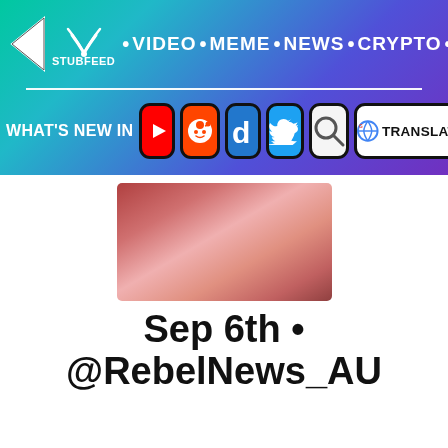StubFeed • VIDEO • MEME • NEWS • CRYPTO •
[Figure (screenshot): Social media navigation bar with WHAT'S NEW IN followed by icons for YouTube, Reddit, Digg, Twitter, Search, and Google Translate]
[Figure (photo): Blurry/distorted face close-up thumbnail image]
Sep 6th • @RebelNews_AU
[Figure (photo): Twitter bird logo icon in blue]
[Figure (photo): Person wearing black bowler hat at outdoor event with colorful background]